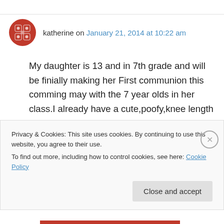katherine on January 21, 2014 at 10:22 am
My daughter is 13 and in 7th grade and will be finially making her First communion this comming may with the 7 year olds in her class.I already have a cute,poofy,knee length communion dress with a matching veil picked out for her.with the dress,i am doing the lace anklets and the white mary jane shoes.I have already told her she is going to wear a cloth
Privacy & Cookies: This site uses cookies. By continuing to use this website, you agree to their use.
To find out more, including how to control cookies, see here: Cookie Policy
Close and accept